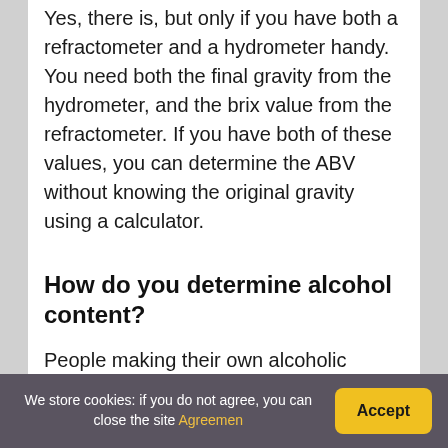Yes, there is, but only if you have both a refractometer and a hydrometer handy. You need both the final gravity from the hydrometer, and the brix value from the refractometer. If you have both of these values, you can determine the ABV without knowing the original gravity using a calculator.
How do you determine alcohol content?
People making their own alcoholic beverages often calculate the percentage of alcohol by volume by measuring their relative density with a
We store cookies: if you do not agree, you can close the site Agreemen  Accept